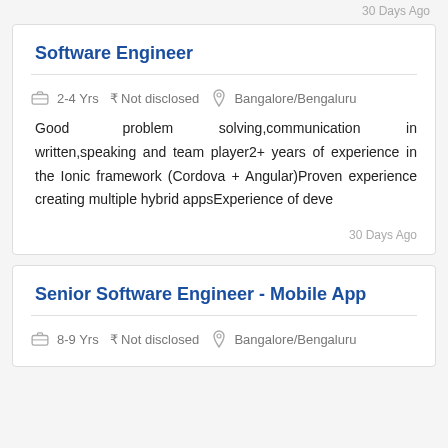30 Days Ago
Software Engineer
2-4 Yrs ₹ Not disclosed  Bangalore/Bengaluru
Good problem solving,communication in written,speaking and team player2+ years of experience in the Ionic framework (Cordova + Angular)Proven experience creating multiple hybrid appsExperience of deve
30 Days Ago
Senior Software Engineer - Mobile App
8-9 Yrs ₹ Not disclosed  Bangalore/Bengaluru